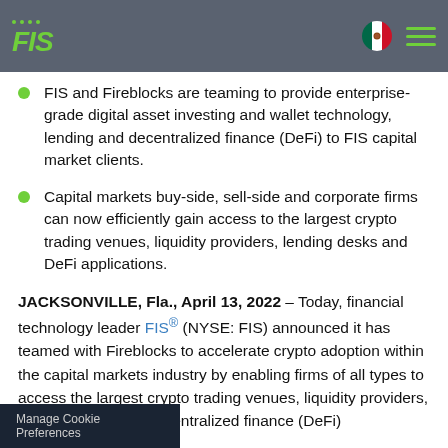[Figure (logo): FIS logo with green dots and green italic text on dark grey header bar, with Mexican flag icon and hamburger menu icon]
FIS and Fireblocks are teaming to provide enterprise-grade digital asset investing and wallet technology, lending and decentralized finance (DeFi) to FIS capital market clients.
Capital markets buy-side, sell-side and corporate firms can now efficiently gain access to the largest crypto trading venues, liquidity providers, lending desks and DeFi applications.
JACKSONVILLE, Fla., April 13, 2022 – Today, financial technology leader FIS® (NYSE: FIS) announced it has teamed with Fireblocks to accelerate crypto adoption within the capital markets industry by enabling firms of all types to access the largest crypto trading venues, liquidity providers, lending desks and decentralized finance (DeFi) applications.
Manage Cookie Preferences